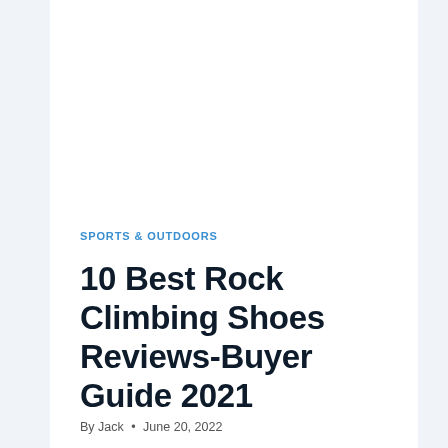SPORTS & OUTDOORS
10 Best Rock Climbing Shoes Reviews-Buyer Guide 2021
By Jack • June 20, 2022